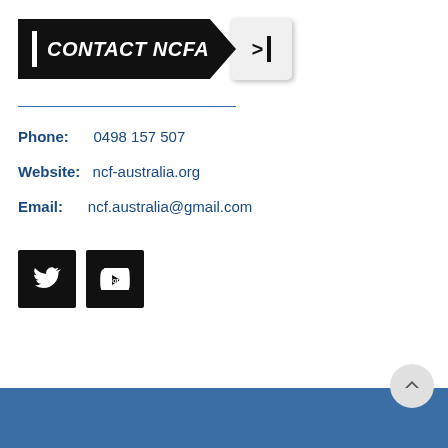[Figure (logo): CONTACT NCFA banner button with black background, white bold italic text, and an arrow icon box]
Phone: 0498 157 507
Website: ncf-australia.org
Email: ncf.australia@gmail.com
[Figure (other): Social media icons: Twitter and YouTube, black square buttons]